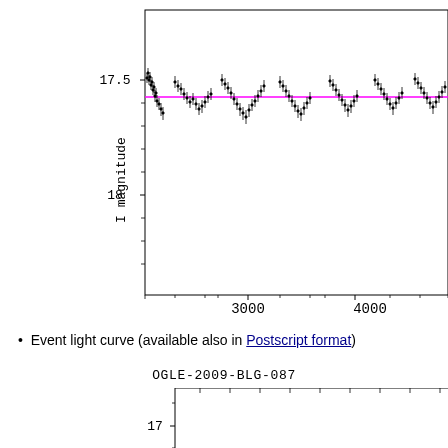[Figure (continuous-plot): Light curve plot showing I magnitude vs HJD-2450000 for an OGLE event. The y-axis shows I magnitude from about 17.5 at top to 18 lower, x-axis shows HJD-2450000 with labels at 3000 and 4000. Dense scatter of data points with error bars near 17.5 magnitude, with a horizontal magenta/pink baseline fit line. The plot is clipped on the right side.]
Event light curve (available also in Postscript format)
OGLE-2009-BLG-087
[Figure (continuous-plot): Second light curve plot for OGLE-2009-BLG-087, partially visible at bottom. Y-axis shows value 17, x-axis tick marks visible. Top portion of another magnitude light curve plot.]